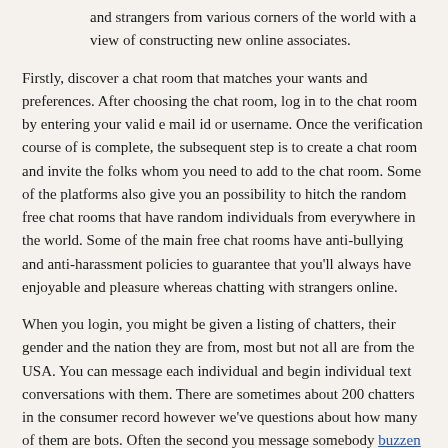and strangers from various corners of the world with a view of constructing new online associates.
Firstly, discover a chat room that matches your wants and preferences. After choosing the chat room, log in to the chat room by entering your valid e mail id or username. Once the verification course of is complete, the subsequent step is to create a chat room and invite the folks whom you need to add to the chat room. Some of the platforms also give you an possibility to hitch the random free chat rooms that have random individuals from everywhere in the world. Some of the main free chat rooms have anti-bullying and anti-harassment policies to guarantee that you'll always have enjoyable and pleasure whereas chatting with strangers online.
When you login, you might be given a listing of chatters, their gender and the nation they are from, most but not all are from the USA. You can message each individual and begin individual text conversations with them. There are sometimes about 200 chatters in the consumer record however we've questions about how many of them are bots. Often the second you message somebody buzzen they will reply with a canned message asking you to contact them off site. There are tons of of rooms both small and huge which perform very like video convention calls the place a number of